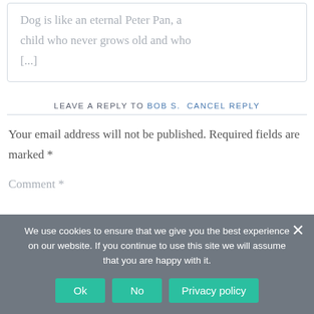Dog is like an eternal Peter Pan, a child who never grows old and who [...]
LEAVE A REPLY TO BOB S. CANCEL REPLY
Your email address will not be published. Required fields are marked *
Comment *
We use cookies to ensure that we give you the best experience on our website. If you continue to use this site we will assume that you are happy with it.